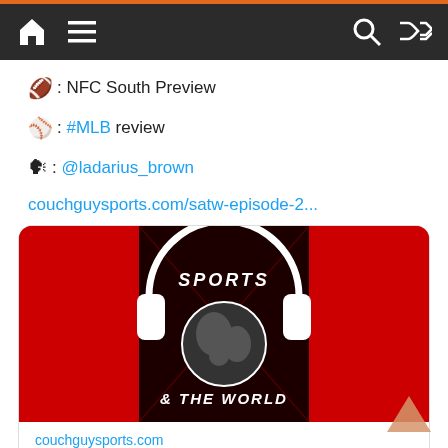Navigation bar with home, menu, search, shuffle icons
🏈: NFC South Preview
⚾: #MLB review
🗣: @ladarius_brown
couchguysports.com/satw-episode-2...
[Figure (screenshot): Sports & The World podcast logo: headphones over a globe on red background with the text SPORTS & THE WORLD]
couchguysports.com
SATW: Episode 25 -